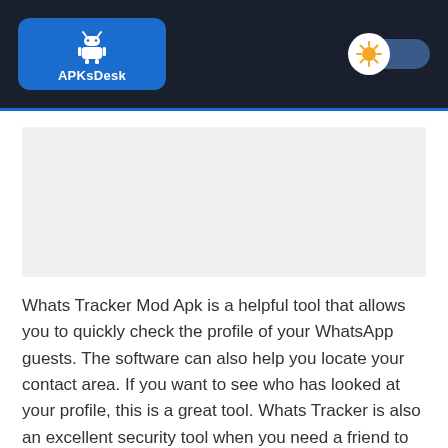[Figure (logo): APKsDesk logo with Android robot icon on blue rounded rectangle background, set within dark navy header bar. A sun/light mode toggle icon appears on the right side of the header.]
Whats Tracker Mod Apk is a helpful tool that allows you to quickly check the profile of your WhatsApp guests. The software can also help you locate your contact area. If you want to see who has looked at your profile, this is a great tool. Whats Tracker is also an excellent security tool when you need a friend to monitor your location and keep you linked. Tracker is fully safe and secure for WhatsApp users, and it caters to a wide range of requirements.
It's simple to use and has a pleasant, easy-to-understand user